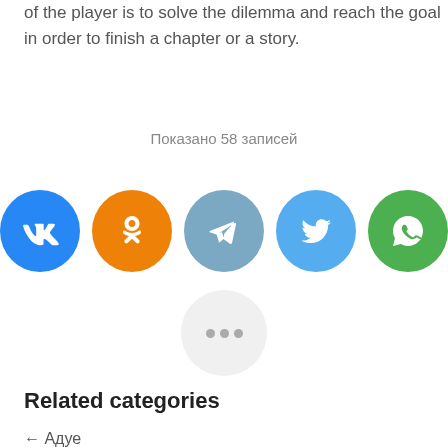of the player is to solve the dilemma and reach the goal in order to finish a chapter or a story.
Показано 58 записей
[Figure (infographic): Row of five social media share buttons: VK (blue), Odnoklassniki (orange), Telegram (light blue), Twitter (blue), WhatsApp (green), followed by a grey 'more' button with three dots.]
Related categories
← Адуе